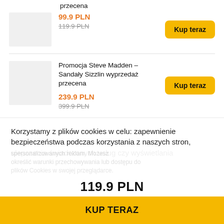przecena
99.9 PLN
119.9 PLN (strikethrough)
Kup teraz
Promocja Steve Madden – Sandały Sizzlin wyprzedaż przecena
239.9 PLN
399.9 PLN (strikethrough)
Kup teraz
Korzystamy z plików cookies w celu: zapewnienie bezpieczeństwa podczas korzystania z naszych stron, ulepszenia świadczonych usług czy wyświetlania
119.9 PLN
KUP TERAZ